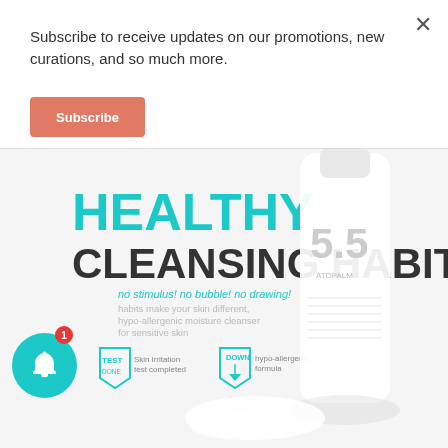Subscribe to receive updates on our promotions, new curations, and so much more.
Subscribe
[Figure (screenshot): Product promotional banner for HEALTHY CLEANSING HABIT featuring a white 5.5 skincare cleanser bottle with teal/cyan headline text, product tagline 'no stimulus! no bubble! no drawing!', and two shield badges for 'Skin irritation test completed' and 'hypo-allergenic formula'. A teal notification bell icon with red badge showing '1' overlays the left side.]